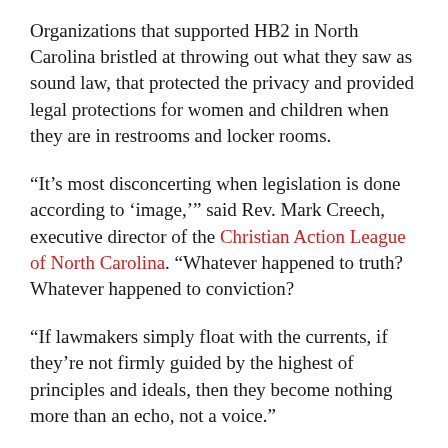Organizations that supported HB2 in North Carolina bristled at throwing out what they saw as sound law, that protected the privacy and provided legal protections for women and children when they are in restrooms and locker rooms.
“It’s most disconcerting when legislation is done according to ‘image,’” said Rev. Mark Creech, executive director of the Christian Action League of North Carolina. “Whatever happened to truth? Whatever happened to conviction?
“If lawmakers simply float with the currents, if they’re not firmly guided by the highest of principles and ideals, then they become nothing more than an echo, not a voice.”